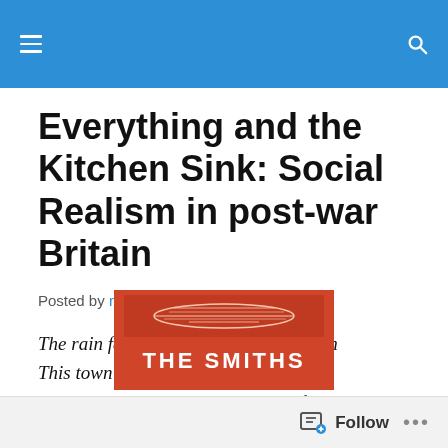Everything and the Kitchen Sink: Social Realism in post-war Britain
Posted by rablogspl
The rain falls hard on a humdrum town
This town has dragged you down
And everybody's got to live their life
And God knows I've got to live mine…
[Figure (photo): Orange/red album cover showing 'THE SMITHS' text with what appears to be an illustration above it]
Follow ...